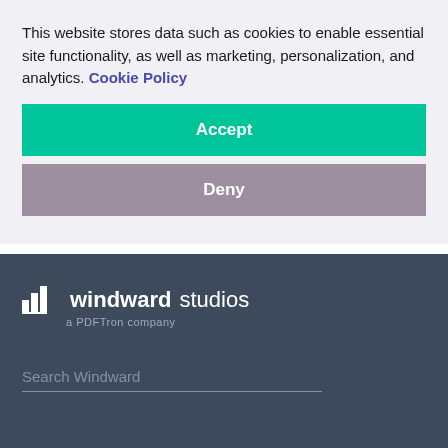This website stores data such as cookies to enable essential site functionality, as well as marketing, personalization, and analytics. Cookie Policy
[Figure (other): Accept button - teal/green colored button with white bold text 'Accept']
[Figure (other): Deny button - muted purple/mauve colored button with white bold text 'Deny']
[Figure (logo): Windward Studios logo - bar chart icon with 'windward studios' text and 'a PDFTron company' subtitle, on dark blue-gray background]
Search Windward